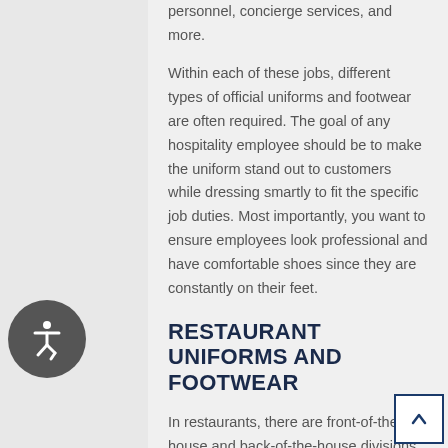personnel, concierge services, and more.
Within each of these jobs, different types of official uniforms and footwear are often required. The goal of any hospitality employee should be to make the uniform stand out to customers while dressing smartly to fit the specific job duties. Most importantly, you want to ensure employees look professional and have comfortable shoes since they are constantly on their feet.
RESTAURANT UNIFORMS AND FOOTWEAR
In restaurants, there are front-of-the-house and back-of-the-house divisions. Servers, hosts and hostesses, bartenders and other front-of-the-house staff should